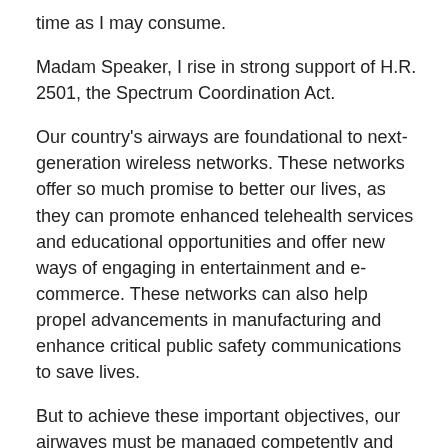time as I may consume.
Madam Speaker, I rise in strong support of H.R. 2501, the Spectrum Coordination Act.
Our country's airways are foundational to next-generation wireless networks. These networks offer so much promise to better our lives, as they can promote enhanced telehealth services and educational opportunities and offer new ways of engaging in entertainment and e- commerce. These networks can also help propel advancements in manufacturing and enhance critical public safety communications to save lives.
But to achieve these important objectives, our airwaves must be managed competently and correctly. Unfortunately, in recent years, our country has not hit this mark. Instead, the two agencies